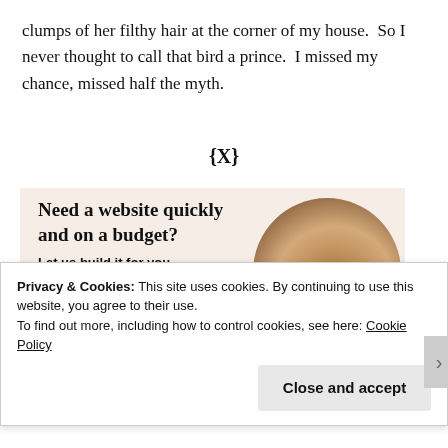clumps of her filthy hair at the corner of my house.  So I never thought to call that bird a prince.  I missed my chance, missed half the myth.
{x}
[Figure (screenshot): Advertisement banner with peach/beige background. Text reads 'Need a website quickly and on a budget? Let us build it for you' with a 'Let's get started' button and a circular photo of hands typing on a laptop.]
Privacy & Cookies: This site uses cookies. By continuing to use this website, you agree to their use.
To find out more, including how to control cookies, see here: Cookie Policy
Close and accept